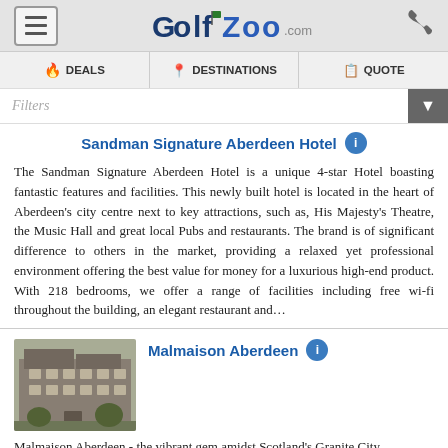GolfZoo.com — menu, phone
DEALS | DESTINATIONS | QUOTE
Filters
Sandman Signature Aberdeen Hotel
The Sandman Signature Aberdeen Hotel is a unique 4-star Hotel boasting fantastic features and facilities. This newly built hotel is located in the heart of Aberdeen's city centre next to key attractions, such as, His Majesty's Theatre, the Music Hall and great local Pubs and restaurants. The brand is of significant difference to others in the market, providing a relaxed yet professional environment offering the best value for money for a luxurious high-end product. With 218 bedrooms, we offer a range of facilities including free wi-fi throughout the building, an elegant restaurant and…
Malmaison Aberdeen
[Figure (photo): Exterior photograph of Malmaison Aberdeen hotel building, a stone-built Victorian structure]
Malmaison Aberdeen - the vibrant gem amidst Scotland's Granite City.